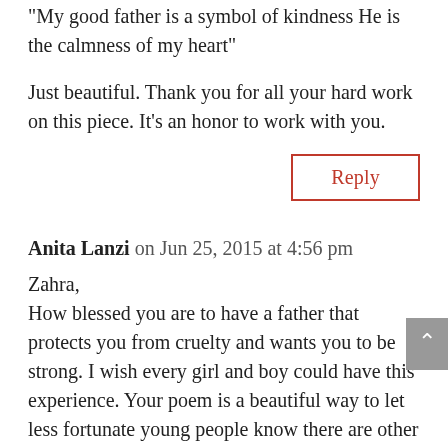“My good father is a symbol of kindness He is the calmness of my heart”
Just beautiful. Thank you for all your hard work on this piece. It’s an honor to work with you.
Reply
Anita Lanzi on Jun 25, 2015 at 4:56 pm
Zahra,
How blessed you are to have a father that protects you from cruelty and wants you to be strong. I wish every girl and boy could have this experience. Your poem is a beautiful way to let less fortunate young people know there are other ways of looking at life. Hopefully your words may inspire them to seek support if they do not find it at